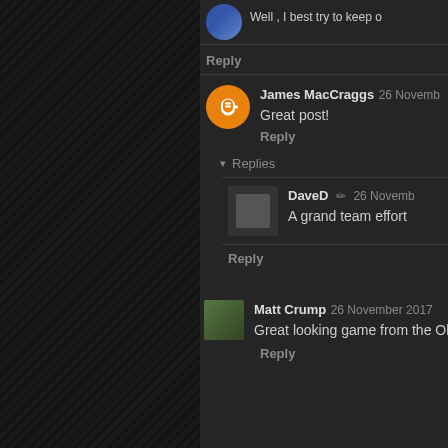Well , I best try to keep o
Reply
James MacCraggs 26 Novemb
Great post!
Reply
▾ Replies
DaveD ✏ 26 Novemb
A grand team effort
Reply
Matt Crump 26 November 2017
Great looking game from the Old
Reply